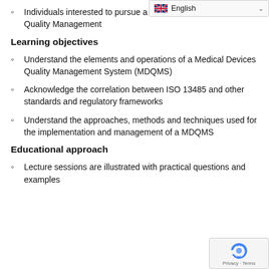Individuals interested to pursue a career in Medical Devices Quality Management
Learning objectives
Understand the elements and operations of a Medical Devices Quality Management System (MDQMS)
Acknowledge the correlation between ISO 13485 and other standards and regulatory frameworks
Understand the approaches, methods and techniques used for the implementation and management of a MDQMS
Educational approach
Lecture sessions are illustrated with practical questions and examples